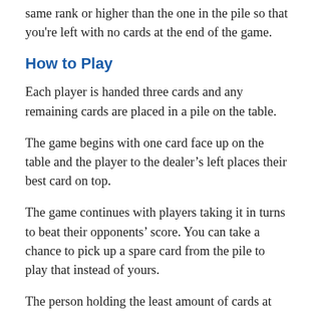same rank or higher than the one in the pile so that you're left with no cards at the end of the game.
How to Play
Each player is handed three cards and any remaining cards are placed in a pile on the table.
The game begins with one card face up on the table and the player to the dealer's left places their best card on top.
The game continues with players taking it in turns to beat their opponents' score. You can take a chance to pick up a spare card from the pile to play that instead of yours.
The person holding the least amount of cards at the end wins the game.